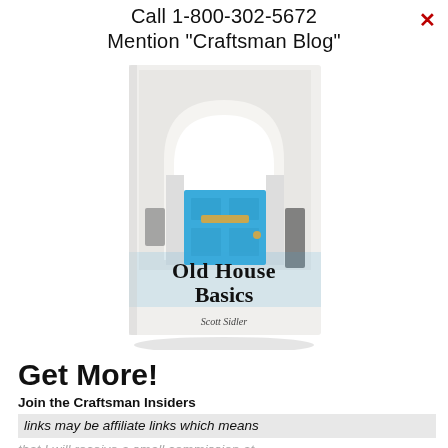Call 1-800-302-5672
Mention "Craftsman Blog"
[Figure (photo): Book cover of 'Old House Basics' by Scott Sidler, showing a white arched doorway with a bright blue door]
Get More!
Join the Craftsman Insiders
links may be affiliate links which means
that I will receive a small commission at no extra expense to you if you decide to